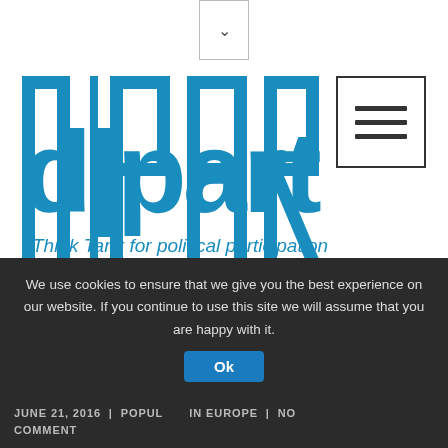[Figure (logo): d|part Think Tank for political participation logo in blue]
BLOG
HOME / BLOG / POLAND: A SUCCESS STORY GONE BAD?
We use cookies to ensure that we give you the best experience on our website. If you continue to use this site we will assume that you are happy with it.
JUNE 21, 2016 | POPULISM IN EUROPE | NO COMMENT